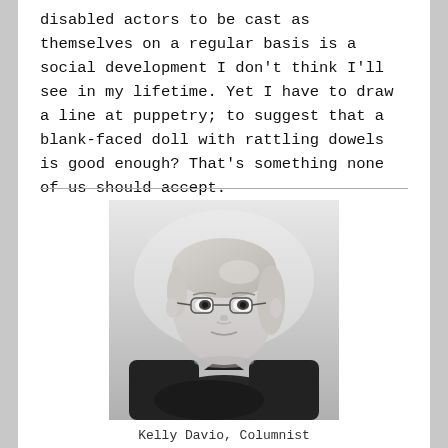disabled actors to be cast as themselves on a regular basis is a social development I don't think I'll see in my lifetime. Yet I have to draw a line at puppetry; to suggest that a blank-faced doll with rattling dowels is good enough? That's something none of us should accept.
[Figure (photo): Black and white portrait photo of a young woman with blonde hair and glasses, wearing a black long-sleeved top, arms crossed, looking slightly upward.]
Kelly Davio, Columnist